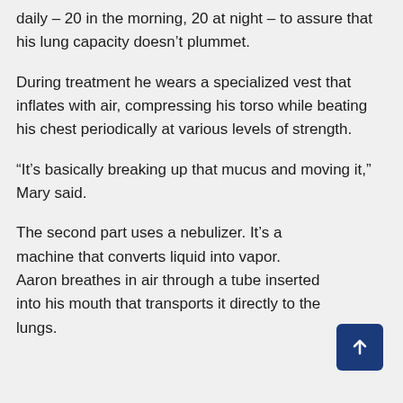daily – 20 in the morning, 20 at night – to assure that his lung capacity doesn’t plummet.
During treatment he wears a specialized vest that inflates with air, compressing his torso while beating his chest periodically at various levels of strength.
“It’s basically breaking up that mucus and moving it,” Mary said.
The second part uses a nebulizer. It’s a machine that converts liquid into vapor. Aaron breathes in air through a tube inserted into his mouth that transports it directly to the lungs.